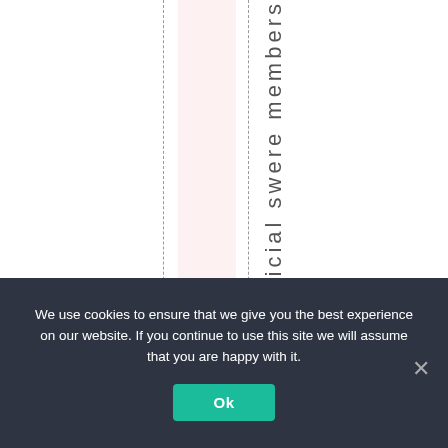[Figure (other): White document area with two vertical dashed lines, a pink/blush vertical band between them, and rotated vertical text reading 'ficial swere members' visible on the right side of the pink band.]
We use cookies to ensure that we give you the best experience on our website. If you continue to use this site we will assume that you are happy with it.